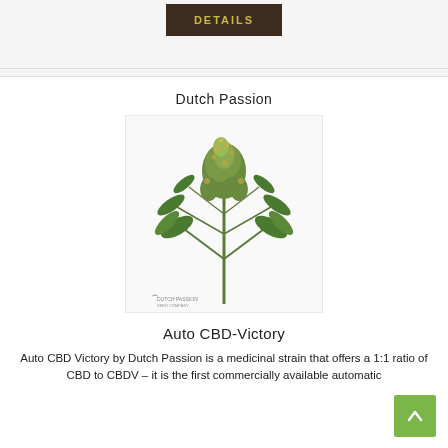[Figure (other): Dark olive/brown button with text DETAILS in olive/yellow uppercase letters]
Dutch Passion
[Figure (photo): Photo of a cannabis plant in full bloom with dense green buds and a Dutch Passion Seed Company logo watermark at the bottom left]
Auto CBD-Victory
Auto CBD Victory by Dutch Passion is a medicinal strain that offers a 1:1 ratio of CBD to CBDV - it is the first commercially available automatic